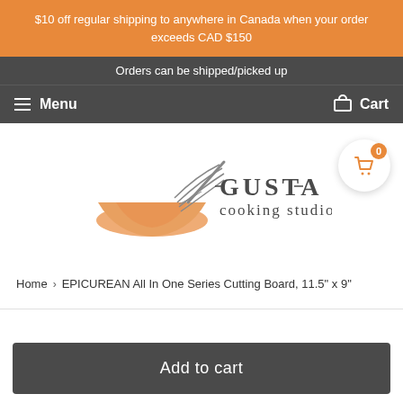$10 off regular shipping to anywhere in Canada when your order exceeds CAD $150
Orders can be shipped/picked up
Menu  Cart
[Figure (logo): Gusta Cooking Studio logo with a whisk and bowl illustration, text reads GUSTA cooking studio]
Home › EPICUREAN All In One Series Cutting Board, 11.5" x 9"
Add to cart